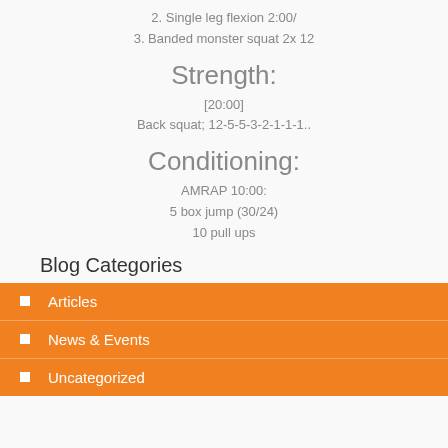2. Single leg flexion 2:00/
3. Banded monster squat 2x 12
Strength:
[20:00]
Back squat; 12-5-5-3-2-1-1-1..
Conditioning:
AMRAP 10:00:
5 box jump (30/24)
10 pull ups
Blog Categories
Articles
News & Events
Uncategorized